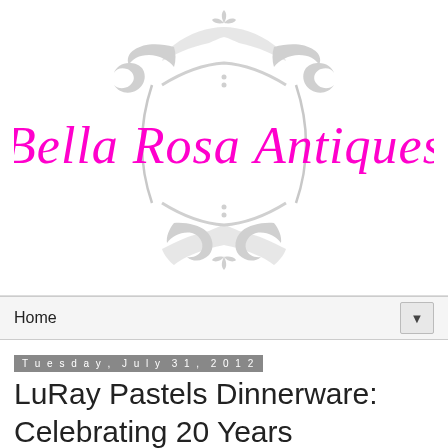[Figure (logo): Bella Rosa Antiques logo: ornate grey decorative flourish/frame with magenta/hot-pink cursive script text reading 'Bella Rosa Antiques']
Home ▼
Tuesday, July 31, 2012
LuRay Pastels Dinnerware: Celebrating 20 Years